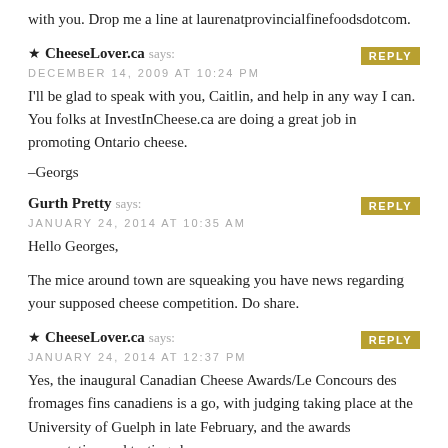with you. Drop me a line at laurenatprovincialfinefoodsdotcom.
★ CheeseLover.ca says:
DECEMBER 14, 2009 AT 10:24 PM
I'll be glad to speak with you, Caitlin, and help in any way I can. You folks at InvestInCheese.ca are doing a great job in promoting Ontario cheese.
–Georgs
Gurth Pretty says:
JANUARY 24, 2014 AT 10:35 AM
Hello Georges,
The mice around town are squeaking you have news regarding your supposed cheese competition. Do share.
★ CheeseLover.ca says:
JANUARY 24, 2014 AT 12:37 PM
Yes, the inaugural Canadian Cheese Awards/Le Concours des fromages fins canadiens is a go, with judging taking place at the University of Guelph in late February, and the awards presentation and tasting show